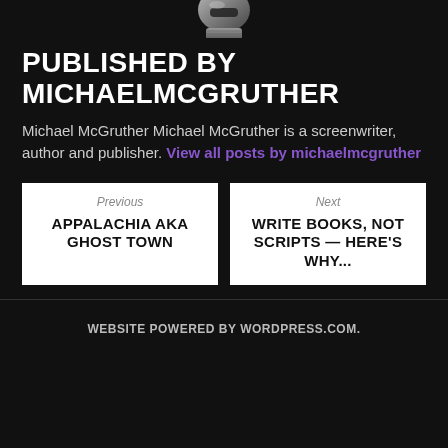[Figure (illustration): Partial robot or metallic helmet/head illustration at top, cropped, on dark background]
PUBLISHED BY MICHAELMCGRUTHER
Michael McGruther Michael McGruther is a screenwriter, author and publisher. View all posts by michaelmcgruther
Previous APPALACHIA AKA GHOST TOWN
Next WRITE BOOKS, NOT SCRIPTS — HERE'S WHY...
WEBSITE POWERED BY WORDPRESS.COM.